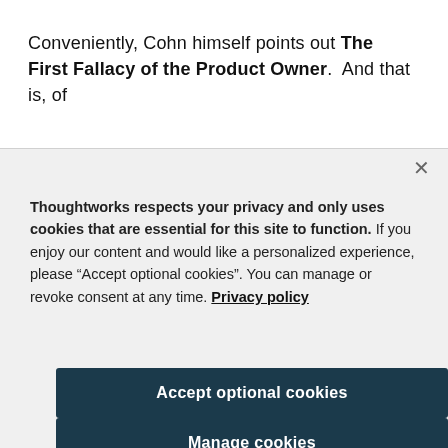Conveniently, Cohn himself points out The First Fallacy of the Product Owner.  And that is, of
Thoughtworks respects your privacy and only uses cookies that are essential for this site to function. If you enjoy our content and would like a personalized experience, please “Accept optional cookies”. You can manage or revoke consent at any time. Privacy policy
Accept optional cookies
Manage cookies